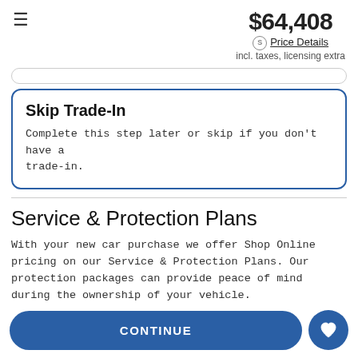$64,408 incl. taxes, licensing extra Price Details
Skip Trade-In
Complete this step later or skip if you don't have a trade-in.
Service & Protection Plans
With your new car purchase we offer Shop Online pricing on our Service & Protection Plans. Our protection packages can provide peace of mind during the ownership of your vehicle.
CONTINUE